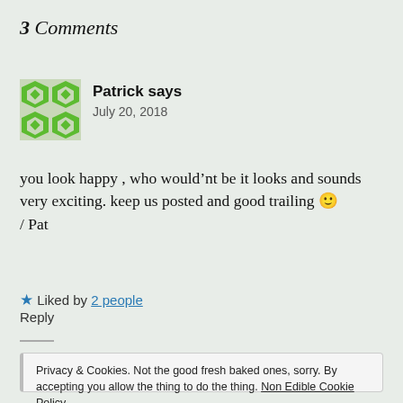3 Comments
[Figure (illustration): Green geometric/floral avatar icon for user Patrick]
Patrick says
July 20, 2018
you look happy , who would’nt be it looks and sounds very exciting. keep us posted and good trailing 🙂
/ Pat
★ Liked by 2 people
Reply
Privacy & Cookies. Not the good fresh baked ones, sorry. By accepting you allow the thing to do the thing. Non Edible Cookie Policy
Accept And Get The Thing Out Of The Way